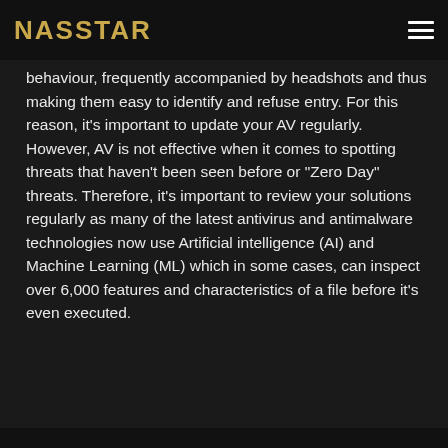NASSTAR
behaviour, frequently accompanied by headshots and thus making them easy to identify and refuse entry. For this reason, it’s important to update your AV regularly. However, AV is not effective when it comes to spotting threats that haven’t been seen before or “Zero Day” threats. Therefore, it’s important to review your solutions regularly as many of the latest antivirus and antimalware technologies now use Artificial intelligence (AI) and Machine Learning (ML) which in some cases, can inspect over 6,000 features and characteristics of a file before it’s even executed.